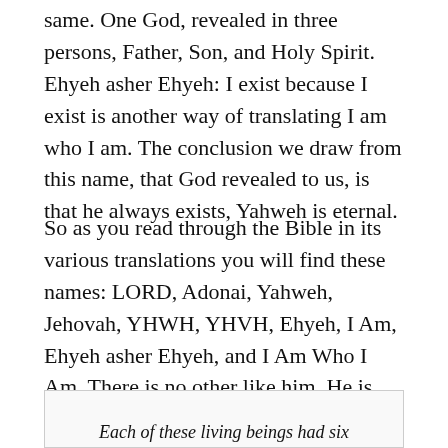same. One God, revealed in three persons, Father, Son, and Holy Spirit. Ehyeh asher Ehyeh: I exist because I exist is another way of translating I am who I am. The conclusion we draw from this name, that God revealed to us, is that he always exists, Yahweh is eternal.
So as you read through the Bible in its various translations you will find these names: LORD, Adonai, Yahweh, Jehovah, YHWH, YHVH, Ehyeh, I Am, Ehyeh asher Ehyeh, and I Am Who I Am. There is no other like him. He is the only one who always is.
Each of these living beings had six